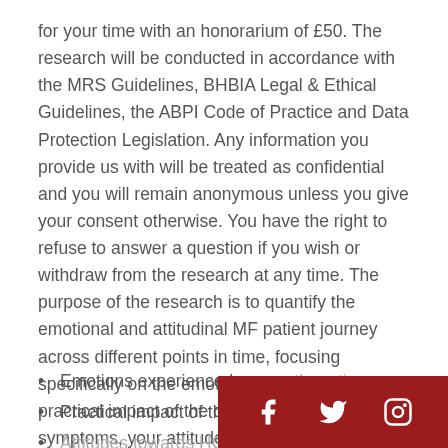for your time with an honorarium of £50. The research will be conducted in accordance with the MRS Guidelines, BHBIA Legal & Ethical Guidelines, the ABPI Code of Practice and Data Protection Legislation. Any information you provide us with will be treated as confidential and you will remain anonymous unless you give your consent otherwise. You have the right to refuse to answer a question if you wish or withdraw from the research at any time. The purpose of the research is to quantify the emotional and attitudinal MF patient journey across different points in time, focusing specifically on the emotions experienced, any practical impact of the condition and its symptoms, your attitudes towards HCPs and treatments and any information sources you have utilized. Specifically...
Emotions experienced acr... the ... ti...
Practical impact of the con...
Attitudes towards HCPs...